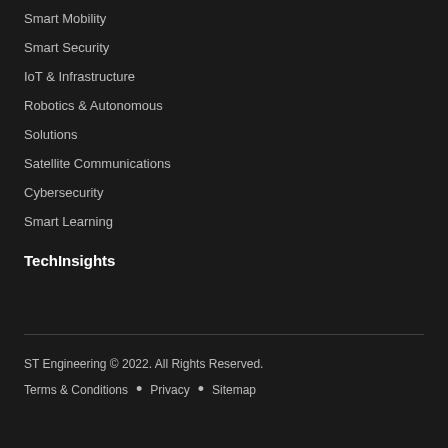Smart Mobility
Smart Security
IoT & Infrastructure
Robotics & Autonomous
Solutions
Satellite Communications
Cybersecurity
Smart Learning
TechInsights
ST Engineering © 2022. All Rights Reserved. Terms & Conditions • Privacy • Sitemap